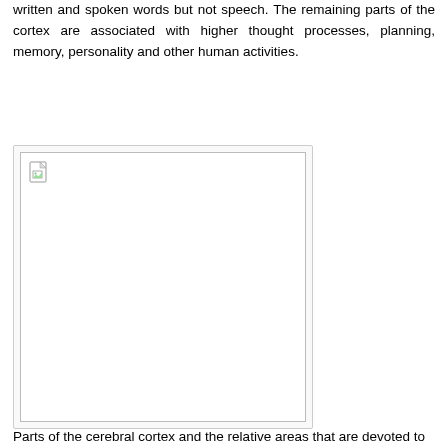written and spoken words but not speech. The remaining parts of the cortex are associated with higher thought processes, planning, memory, personality and other human activities.
[Figure (illustration): A broken/missing image placeholder showing a small broken image icon in the top-left corner of an otherwise blank white rectangle with a light gray border, contained within a light gray outer frame.]
Parts of the cerebral cortex and the relative areas that are devoted to